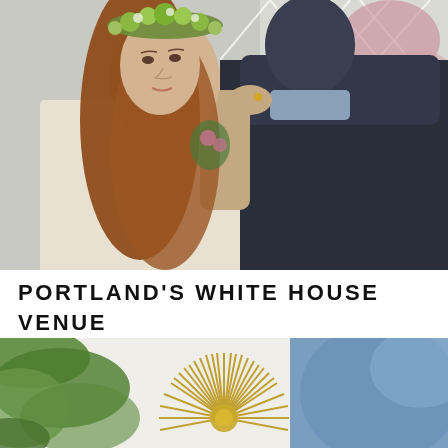[Figure (photo): A couple posing outdoors near a white lattice fence. A young woman with long auburn hair wearing a floral crown of green and white flowers rests her arm on a man's shoulder. The man in a dark suit is seen from behind/side. Lush pink and green foliage visible in background.]
PORTLAND'S WHITE HOUSE VENUE TOUR
[Figure (photo): Bottom portion of page showing a decorative sunburst/starburst ornament made of golden spikes against a blurred blue background, with green foliage visible on the left side.]